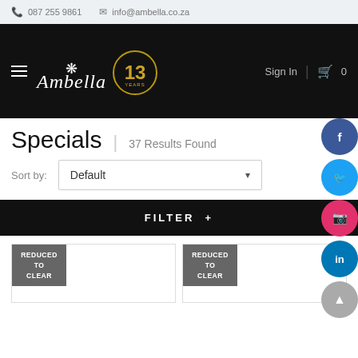087 255 9861   info@ambella.co.za
[Figure (logo): Ambella logo with crown emblem and 13 years anniversary badge on black navigation bar with Sign In and cart icon]
Specials | 37 Results Found
Sort by: Default
FILTER +
[Figure (other): Two product cards each showing REDUCED TO CLEAR badge]
[Figure (other): Social media buttons: Facebook, Twitter, Instagram, LinkedIn, scroll-to-top]